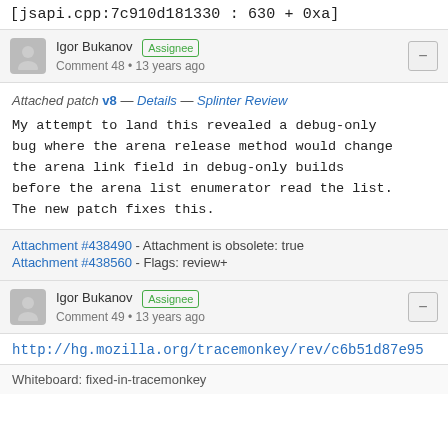[jsapi.cpp:7c910d181330 : 630 + 0xa]
Igor Bukanov  Assignee  Comment 48 • 13 years ago
Attached patch v8 — Details — Splinter Review
My attempt to land this revealed a debug-only bug where the arena release method would change the arena link field in debug-only builds before the arena list enumerator read the list. The new patch fixes this.
Attachment #438490 - Attachment is obsolete: true
Attachment #438560 - Flags: review+
Igor Bukanov  Assignee  Comment 49 • 13 years ago
http://hg.mozilla.org/tracemonkey/rev/c6b51d87e95
Whiteboard: fixed-in-tracemonkey